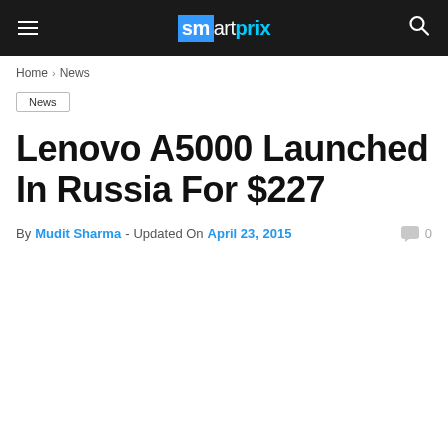smartprix
Home › News
News
Lenovo A5000 Launched In Russia For $227
By Mudit Sharma - Updated On April 23, 2015  0